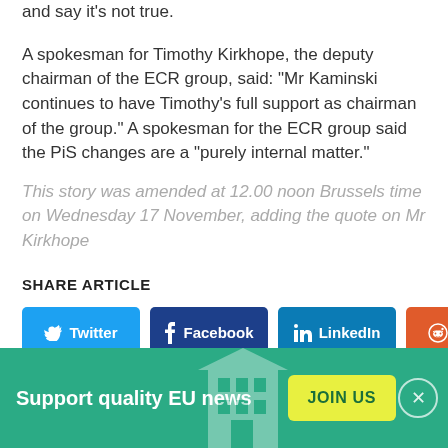and say it's not true.
A spokesman for Timothy Kirkhope, the deputy chairman of the ECR group, said: "Mr Kaminski continues to have Timothy's full support as chairman of the group." A spokesman for the ECR group said the PiS changes are a "purely internal matter."
This story was amended at 12.00 noon Brussels time on Wednesday 17 November, adding the quote on Mr Kirkhope
SHARE ARTICLE
[Figure (infographic): Social share buttons: Twitter (blue), Facebook (dark blue), LinkedIn (blue), Reddit (orange)]
Support quality EU news
JOIN US